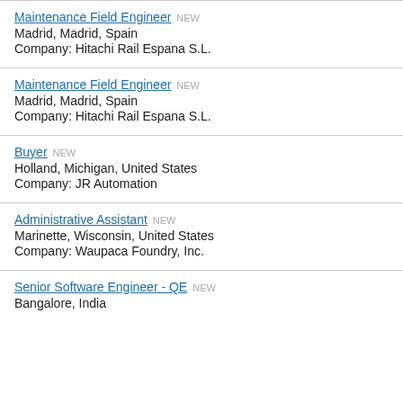Maintenance Field Engineer NEW
Madrid, Madrid, Spain
Company: Hitachi Rail Espana S.L.
Maintenance Field Engineer NEW
Madrid, Madrid, Spain
Company: Hitachi Rail Espana S.L.
Buyer NEW
Holland, Michigan, United States
Company: JR Automation
Administrative Assistant NEW
Marinette, Wisconsin, United States
Company: Waupaca Foundry, Inc.
Senior Software Engineer - QE NEW
Bangalore, India